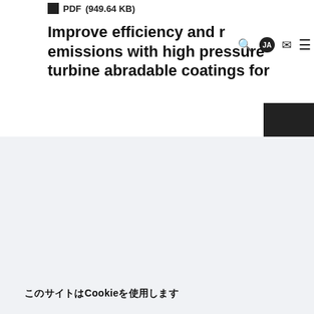PDF (949.64 KB)
Improve efficiency and reduce emissions with high pressure turbine abradable coatings for
このサイトはCookieを使用します
すべてのCookieに同意
管理Cookie設定を保存する
当サイトは Cookie を使用して、サイト上でのお客様のエクスペリエンスを向上させています。Cookieはどのようなものか、どのように使用されているか、お客様がどのように管理できるかについての詳細は、Cookieポリシー をご覧ください。